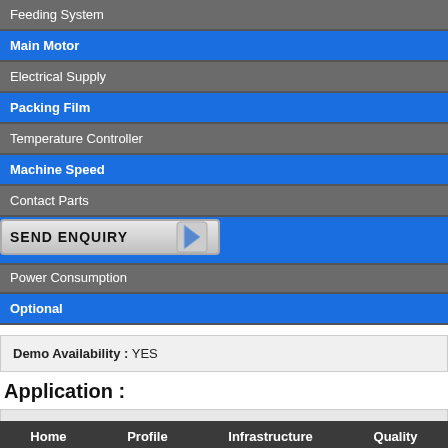Feeding System
Main Motor
Electrical Supply
Packing Film
Temperature Controller
Machine Speed
Contact Parts
SEND ENQUIRY
Power Consumption
Optional
Demo Availability : YES
Application :
Grains Flour, Spices, Milk Pow...
Home  Profile  Infrastructure  Quality